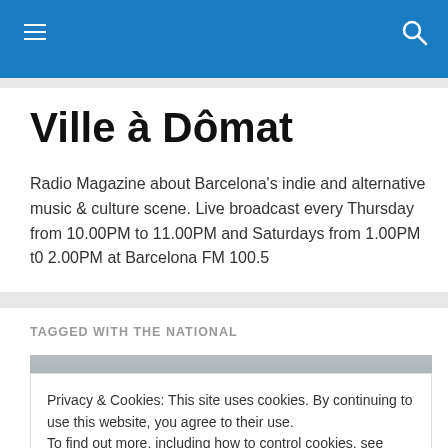Navigation bar with hamburger menu and search icon
Ville à Dômat
Radio Magazine about Barcelona's indie and alternative music & culture scene. Live broadcast every Thursday from 10.00PM to 11.00PM and Saturdays from 1.00PM t0 2.00PM at Barcelona FM 100.5
TAGGED WITH THE NATIONAL
[Figure (photo): Partial photo strip visible behind cookie banner]
Privacy & Cookies: This site uses cookies. By continuing to use this website, you agree to their use.
To find out more, including how to control cookies, see here: Cookie Policy
Close and accept